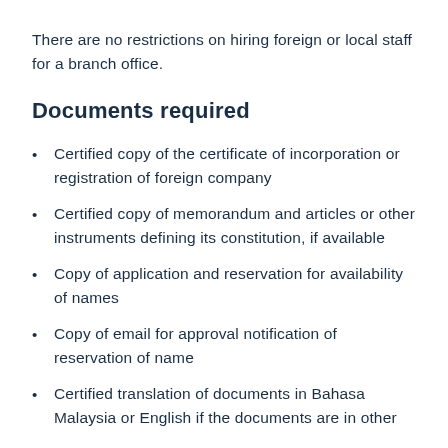There are no restrictions on hiring foreign or local staff for a branch office.
Documents required
Certified copy of the certificate of incorporation or registration of foreign company
Certified copy of memorandum and articles or other instruments defining its constitution, if available
Copy of application and reservation for availability of names
Copy of email for approval notification of reservation of name
Certified translation of documents in Bahasa Malaysia or English if the documents are in other